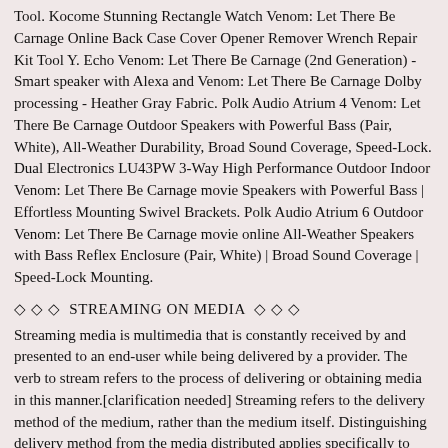Tool. Kocome Stunning Rectangle Watch Venom: Let There Be Carnage Online Back Case Cover Opener Remover Wrench Repair Kit Tool Y. Echo Venom: Let There Be Carnage (2nd Generation) - Smart speaker with Alexa and Venom: Let There Be Carnage Dolby processing - Heather Gray Fabric. Polk Audio Atrium 4 Venom: Let There Be Carnage Outdoor Speakers with Powerful Bass (Pair, White), All-Weather Durability, Broad Sound Coverage, Speed-Lock. Dual Electronics LU43PW 3-Way High Performance Outdoor Indoor Venom: Let There Be Carnage movie Speakers with Powerful Bass | Effortless Mounting Swivel Brackets. Polk Audio Atrium 6 Outdoor Venom: Let There Be Carnage movie online All-Weather Speakers with Bass Reflex Enclosure (Pair, White) | Broad Sound Coverage | Speed-Lock Mounting.
◇ ◇ ◇  STREAMING ON MEDIA  ◇ ◇ ◇
Streaming media is multimedia that is constantly received by and presented to an end-user while being delivered by a provider. The verb to stream refers to the process of delivering or obtaining media in this manner.[clarification needed] Streaming refers to the delivery method of the medium, rather than the medium itself. Distinguishing delivery method from the media distributed applies specifically to telecommunications networks, as most of the delivery systems are either inherently streaming (e.g. radio, television, streaming apps) or inherently non-streaming (e.g. books, video cassettes, audio CDs). There are challenges with streaming content on the Internet. For example, users whose Internet connection lacks sufficient bandwidth may experience stops, lags, or slow buffering of the content. And users lacking compatible hardware or software systems may be unable to stream certain content. Live streaming is the delivery of Internet content in real-time much as live television broadcasts content over the airwaves via a television signal. Live internet streaming requires a form of